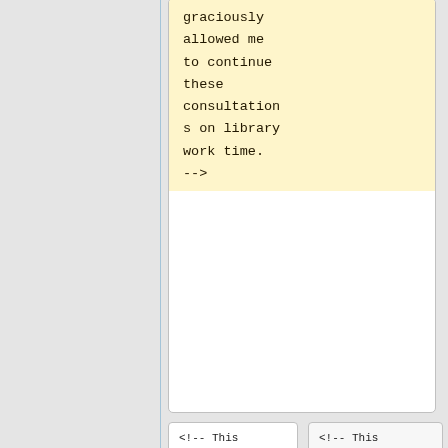graciously allowed me to continue these consultations on library work time. -->
<!-- This kind of consulting became my full-time work in December 2021, augmented by direct advising to Martha Whitehead
<!-- This kind of consulting became my full-time work in December 2021, augmented by direct advising to Martha Whitehead